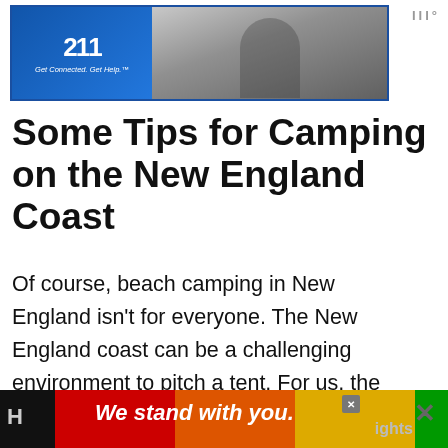[Figure (screenshot): Advertisement banner at top with blue bordered box, logo area reading 'Get Connected. Get Help.' and photo of person on right side. 'III°' wordmark in top right corner.]
Some Tips for Camping on the New England Coast
Of course, beach camping in New England isn't for everyone. The New England coast can be a challenging environment to pitch a tent. For us, the pros of beach camping outweigh the cons, as long as we are prepared for copious amounts of s[and,] relentless winds, and unpredictable weather.
[Figure (screenshot): Bottom advertisement bar with rainbow colored stripes, dark background, text 'We stand with you.' in white italic bold, X close button, and partial page text on left 'H' and right 'lights'.]